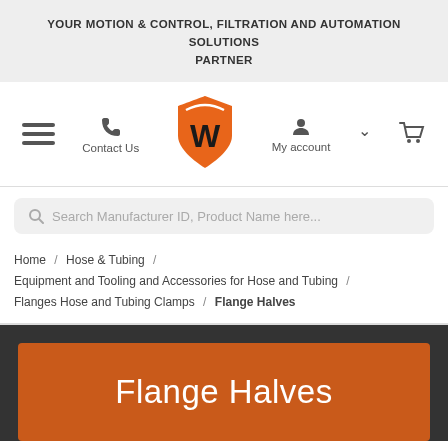YOUR MOTION & CONTROL, FILTRATION AND AUTOMATION SOLUTIONS PARTNER
[Figure (screenshot): Navigation bar with hamburger menu, phone/Contact Us, W logo (orange shield with W), My account icon with chevron, and shopping cart icon]
Search Manufacturer ID, Product Name here...
Home / Hose & Tubing / Equipment and Tooling and Accessories for Hose and Tubing / Flanges Hose and Tubing Clamps / Flange Halves
Flange Halves